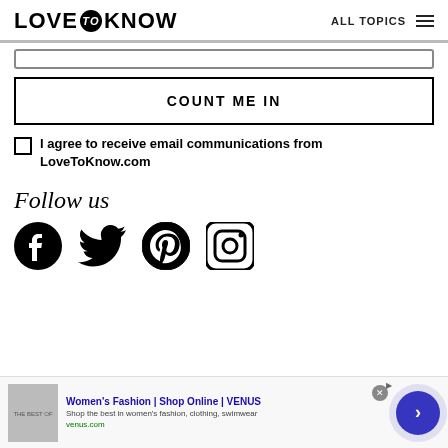LOVE to KNOW   ALL TOPICS
COUNT ME IN
I agree to receive email communications from LoveToKnow.com
Follow us
[Figure (illustration): Social media icons: Facebook, Twitter, Pinterest, Instagram]
[Figure (infographic): Advertisement banner: Women's Fashion | Shop Online | VENUS. Shop the best in women's fashion, clothing, swimwear. venus.com]